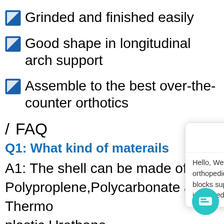Grinded and finished easily
Good shape in longitudinal arch support
Assemble to the best over-the-counter orthotics
/ FAQ
Q1: What kind of materails
A1: The shell can be made of Polyproplene, Polycarbonate and Thermoplastic Urethane
[Figure (other): Chat popup overlay with EASTE logo and message: Hello, We are orthotic insoles & orthopedic shoes , socks & EVA milling blocks supplier, May I know your interested products?]